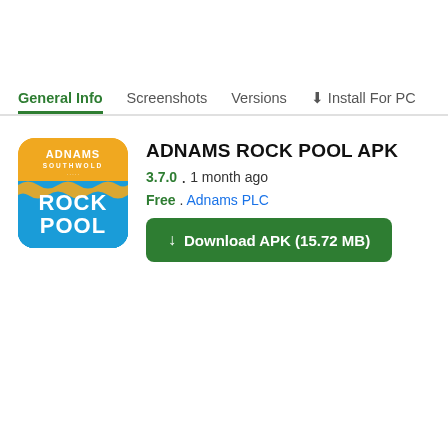General Info  Screenshots  Versions  ⬇ Install For PC
[Figure (logo): Adnams Rock Pool app icon – yellow/gold rounded square with 'ADNAMS SOUTHWOLD' text at top, blue wave pattern in middle, and 'ROCK POOL' in large white bold text at bottom]
ADNAMS ROCK POOL APK
3.7.0 . 1 month ago
Free . Adnams PLC
↓ Download APK (15.72 MB)